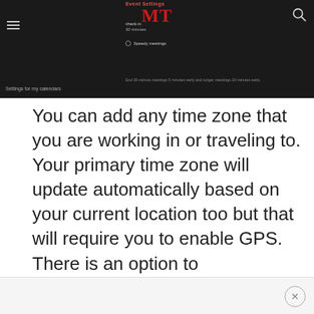[Figure (screenshot): Screenshot of a mobile app (MT — likely a calendar/productivity app) showing settings interface with dark header, hamburger menu, MT logo in red, search icon, Event Settings label, and calendar settings options at bottom]
You can add any time zone that you are working in or traveling to. Your primary time zone will update automatically based on your current location too but that will require you to enable GPS. There is an option to enable/disable this setting though.